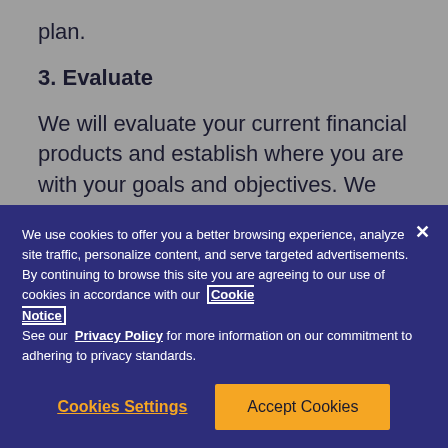plan.
3. Evaluate
We will evaluate your current financial products and establish where you are with your goals and objectives. We consider factors such as personal financial
We use cookies to offer you a better browsing experience, analyze site traffic, personalize content, and serve targeted advertisements. By continuing to browse this site you are agreeing to our use of cookies in accordance with our Cookie Notice
See our Privacy Policy for more information on our commitment to adhering to privacy standards.
Cookies Settings
Accept Cookies